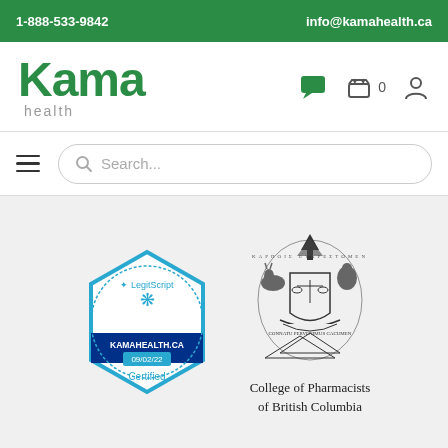1-888-533-9842   info@kamahealth.ca
[Figure (logo): Kama Health logo with green Kama text and grey health subtitle]
[Figure (screenshot): Navigation icons: chat bubble, shopping basket with 0, user profile icon]
[Figure (screenshot): Hamburger menu and search bar with Search... placeholder text]
[Figure (logo): LegitScript certified badge for KAMAHEALTH.CA dated 09/02/22]
[Figure (logo): College of Pharmacists of British Columbia crest/coat of arms]
College of Pharmacists of British Columbia